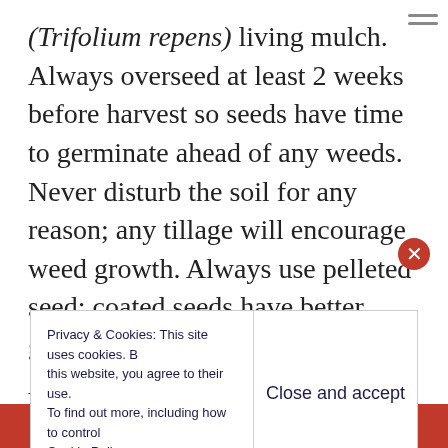(Trifolium repens) living mulch. Always overseed at least 2 weeks before harvest so seeds have time to germinate ahead of any weeds. Never disturb the soil for any reason; any tillage will encourage weed growth. Always use pelleted seed; coated seeds have better germination and seedling survival. Always use Dutch white clover to check weed growth; clover replaces herbicides and mechanical cultivation. One last important detail: Return all crop residues to the field and scatter randomly to form a thin, open mulch; a
Privacy & Cookies: This site uses cookies. By continuing to use this website, you agree to their use. To find out more, including how to control cookies, see here: Cookie Policy
Close and accept
Search, browse, and email